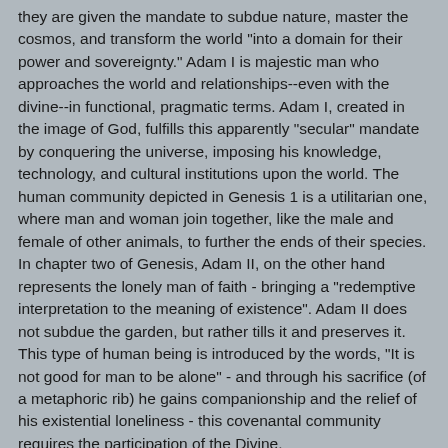they are given the mandate to subdue nature, master the cosmos, and transform the world "into a domain for their power and sovereignty." Adam I is majestic man who approaches the world and relationships--even with the divine--in functional, pragmatic terms. Adam I, created in the image of God, fulfills this apparently "secular" mandate by conquering the universe, imposing his knowledge, technology, and cultural institutions upon the world. The human community depicted in Genesis 1 is a utilitarian one, where man and woman join together, like the male and female of other animals, to further the ends of their species. In chapter two of Genesis, Adam II, on the other hand represents the lonely man of faith - bringing a "redemptive interpretation to the meaning of existence". Adam II does not subdue the garden, but rather tills it and preserves it. This type of human being is introduced by the words, "It is not good for man to be alone" - and through his sacrifice (of a metaphoric rib) he gains companionship and the relief of his existential loneliness - this covenantal community requires the participation of the Divine.
Halakhic Man
In Halakhic Man Soloveitchik propounds the centrality of